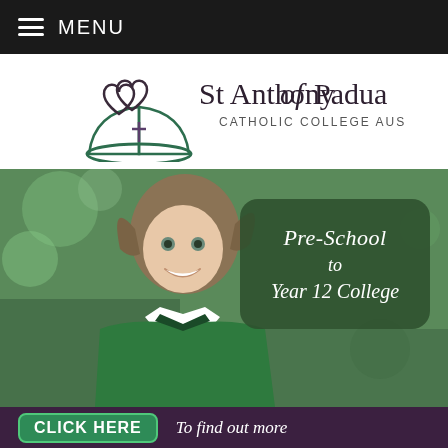MENU
[Figure (logo): St Anthony of Padua Catholic College Austral logo with heart and book symbol]
[Figure (photo): Young girl in green school uniform smiling, with overlay text 'Pre-School to Year 12 College']
CLICK HERE  To find out more